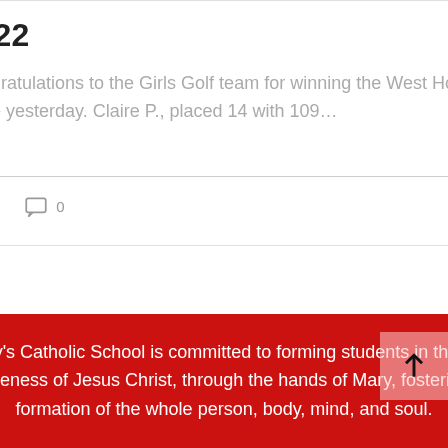2022
Congratulations to the Girls Golf team for winning the West Holt Invite yesterday. Claire P., placed 14 with 109…
8  0
[Figure (infographic): Pagination dots: three dots, first filled dark, two light gray]
St. Mary's Catholic School is committed to forming students in the image and likeness of Jesus Christ, through the hands of Mary, fostering the formation of the whole person, body, mind, and soul.